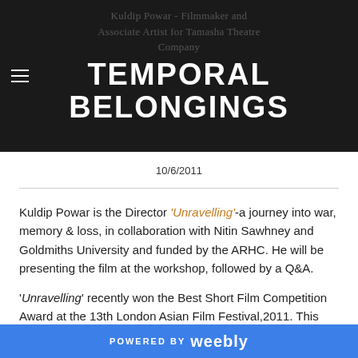Kuldip Powar - Filmmaker and Associate Artist for Tamasha Theatre Company | TEMPORAL BELONGINGS
10/6/2011
Kuldip Powar is the Director ‘Unravelling’-a journey into war, memory & loss, in collaboration with Nitin Sawhney and Goldmiths University and funded by the ARHC. He will be presenting the film at the workshop, followed by a Q&A.
‘Unravelling’ recently won the Best Short Film Competition Award at the 13th London Asian Film Festival,2011. This film was also selected for : The Re-Orient festival in Stockholm; The Spinning Wheel Sikh Film Festival 2008 in Hollywood and Bombay Mix Film Festival 2010(Cine...
POWERED BY weebly